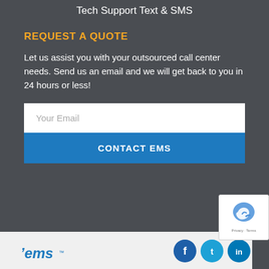Tech Support
Text & SMS
REQUEST A QUOTE
Let us assist you with your outsourced call center needs. Send us an email and we will get back to you in 24 hours or less!
Your Email
CONTACT EMS
[Figure (logo): EMS company logo in blue italic text]
[Figure (infographic): Social media icons: Facebook, Twitter, LinkedIn in blue circles]
[Figure (other): reCAPTCHA widget overlay with Privacy and Terms text]